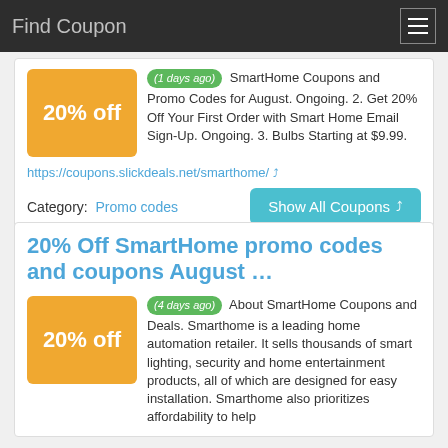Find Coupon
(1 days ago) SmartHome Coupons and Promo Codes for August. Ongoing. 2. Get 20% Off Your First Order with Smart Home Email Sign-Up. Ongoing. 3. Bulbs Starting at $9.99.
https://coupons.slickdeals.net/smarthome/
Category: Promo codes
Show All Coupons
20% Off SmartHome promo codes and coupons August …
(4 days ago) About SmartHome Coupons and Deals. Smarthome is a leading home automation retailer. It sells thousands of smart lighting, security and home entertainment products, all of which are designed for easy installation. Smarthome also prioritizes affordability to help